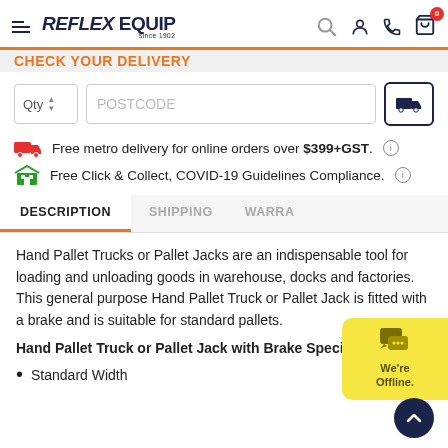REFLEX EQUIP — since 1902
CHECK YOUR DELIVERY
Qty  POSTCODE
Free metro delivery for online orders over $399+GST.
Free Click & Collect, COVID-19 Guidelines Compliance.
DESCRIPTION  SHIPPING  WARRA...
Hand Pallet Trucks or Pallet Jacks are an indispensable tool for loading and unloading goods in warehouse, docks and factories. This general purpose Hand Pallet Truck or Pallet Jack is fitted with a brake and is suitable for standard pallets.
Hand Pallet Truck or Pallet Jack with Brake Specifications:
Standard Width